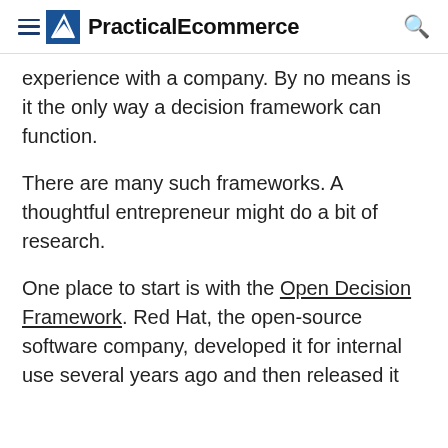PracticalEcommerce
experience with a company. By no means is it the only way a decision framework can function.
There are many such frameworks. A thoughtful entrepreneur might do a bit of research.
One place to start is with the Open Decision Framework. Red Hat, the open-source software company, developed it for internal use several years ago and then released it